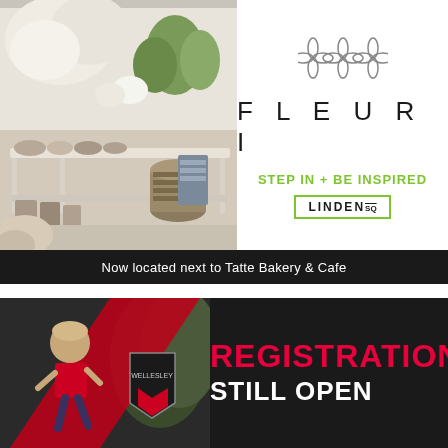[Figure (photo): Interior photo of a floral shop showing flower arrangements, potted plants, vases, baskets with woven items on a long white wooden table.]
[Figure (logo): Fleuri logo with decorative four-petal flower symbol and text FLEURI in spaced capitals, green tagline STEP IN + BE INSPIRED, and LINDEN SQ in green bordered box.]
Now located next to Tatte Bakery & Cafe
[Figure (photo): Sports registration advertisement showing a child in a red shirt running, a Wellesley shield logo on the left, and bold red text REGISTRATION STILL OPEN on dark background.]